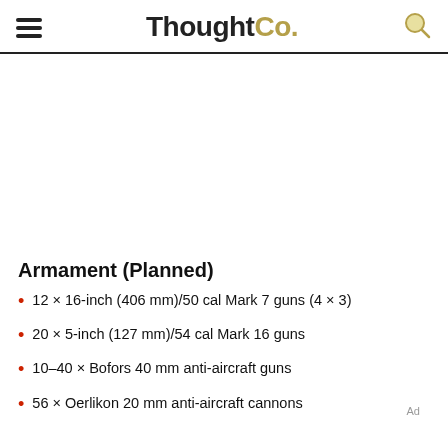ThoughtCo.
Armament (Planned)
12 × 16-inch (406 mm)/50 cal Mark 7 guns (4 × 3)
20 × 5-inch (127 mm)/54 cal Mark 16 guns
10–40 × Bofors 40 mm anti-aircraft guns
56 × Oerlikon 20 mm anti-aircraft cannons